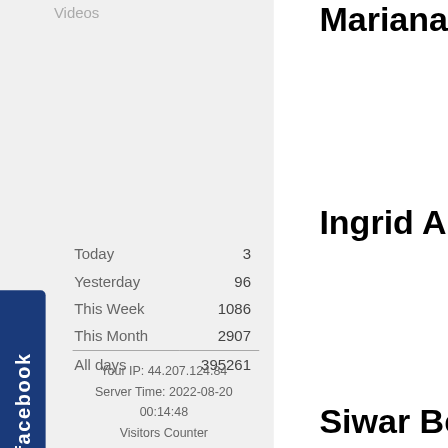Videos
|  |  |
| --- | --- |
| Today | 3 |
| Yesterday | 96 |
| This Week | 1086 |
| This Month | 2907 |
| All days | 395261 |
Your IP: 44.207.124.84
Server Time: 2022-08-20 00:14:48
Visitors Counter
[Figure (logo): Facebook blue tab/button on left side]
Mariana Corre
Ingrid Antunes
Siwar Ben Aya